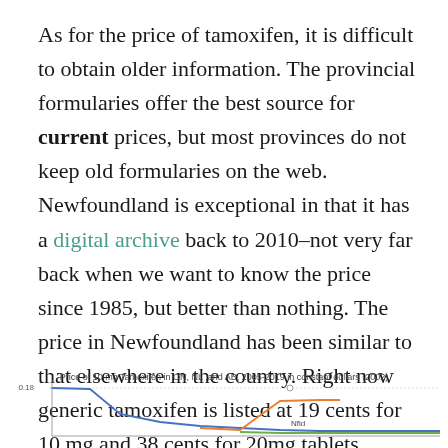As for the price of tamoxifen, it is difficult to obtain older information. The provincial formularies offer the best source for current prices, but most provinces do not keep old formularies on the web. Newfoundland is exceptional in that it has a digital archive back to 2010–not very far back when we want to know the price since 1985, but better than nothing. The price in Newfoundland has been similar to that elsewhere in the country. Right now generic tamoxifen is listed at 19 cents for 10 mg and 38 cents for 20mg tablets.
Price of 10 mg Tamoxifen in ON, NL ,and AB, 2005-2019 in constant dollars (2002)
[Figure (line-chart): Partial line chart showing price trends for 10 mg Tamoxifen in ON, NL, and AB from 2005-2019 in constant dollars (2002). The chart is cut off at the bottom of the page. A value of 0.18 is visible on the y-axis. Lines for NL and other provinces are partially visible.]